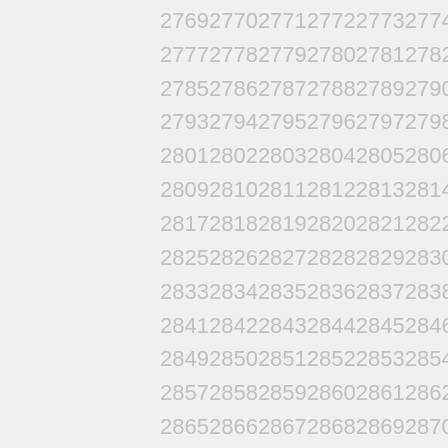2769 2770 2771 2772 2773 2774 2775 2776
2777 2778 2779 2780 2781 2782 2783 2784
2785 2786 2787 2788 2789 2790 2791 2792
2793 2794 2795 2796 2797 2798 2799 2800
2801 2802 2803 2804 2805 2806 2807 2808
2809 2810 2811 2812 2813 2814 2815 2816
2817 2818 2819 2820 2821 2822 2823 2824
2825 2826 2827 2828 2829 2830 2831 2832
2833 2834 2835 2836 2837 2838 2839 2840
2841 2842 2843 2844 2845 2846 2847 2848
2849 2850 2851 2852 2853 2854 2855 2856
2857 2858 2859 2860 2861 2862 2863 2864
2865 2866 2867 2868 2869 2870 2871 2872